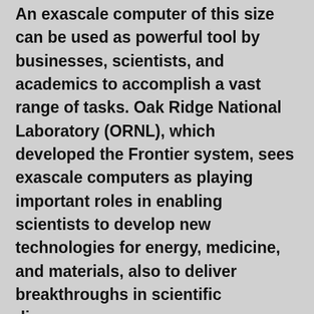An exascale computer of this size can be used as powerful tool by businesses, scientists, and academics to accomplish a vast range of tasks. Oak Ridge National Laboratory (ORNL), which developed the Frontier system, sees exascale computers as playing important roles in enabling scientists to develop new technologies for energy, medicine, and materials, also to deliver breakthroughs in scientific discovery, energy assurance, economic competitiveness, and even (US) national security. Supercomputers with the capability of the Frontier system could also be used for brain mapping, weather and climate forecasting, product design, astronomy and other applications.